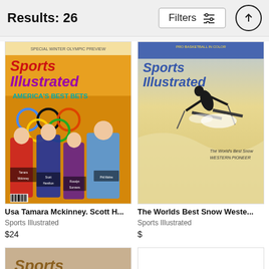Results: 26
Filters
[Figure (screenshot): Sports Illustrated magazine cover - Special Winter Olympic Preview, featuring Usa Tamara Mckinney, Scott Hamilton, Rosalyn Sumners, Phil Mahre with Olympic rings]
[Figure (screenshot): Sports Illustrated magazine cover - Pro Basketball in Color, featuring a skier on snowy slope, captioned 'The World's Best Snow Western Pioneer']
Usa Tamara Mckinney. Scott H...
Sports Illustrated
$24
The Worlds Best Snow Weste...
Sports Illustrated
$
[Figure (screenshot): Partial Sports Illustrated magazine cover visible at bottom left]
[Figure (screenshot): Partial white/blank magazine cover visible at bottom right]